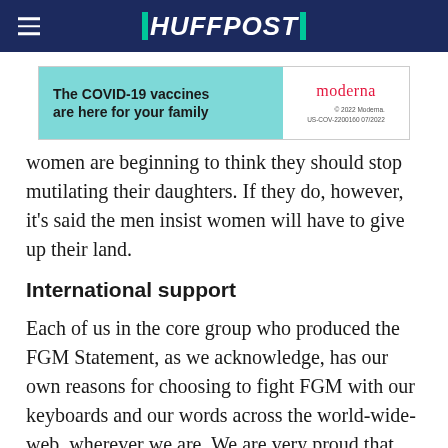HUFFPOST
[Figure (other): Advertisement for Moderna COVID-19 vaccines. Left side teal background with text 'The COVID-19 vaccines are here for your family'. Right side white background with Moderna logo and fine print '© 2022 Moderna. US-COV-2200160 07/2022'.]
women are beginning to think they should stop mutilating their daughters. If they do, however, it's said the men insist women will have to give up their land.
International support
Each of us in the core group who produced the FGM Statement, as we acknowledge, has our own reasons for choosing to fight FGM with our keyboards and our words across the world-wide-web, wherever we are. We are very proud that people who also support